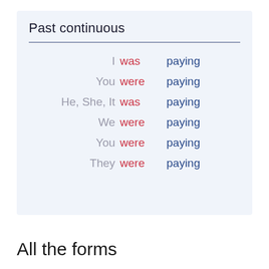Past continuous
|  |  |  |
| --- | --- | --- |
| I | was | paying |
| You | were | paying |
| He, She, It | was | paying |
| We | were | paying |
| You | were | paying |
| They | were | paying |
All the forms